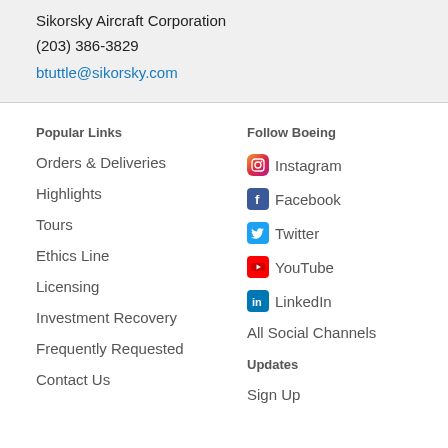Sikorsky Aircraft Corporation
(203) 386-3829
btuttle@sikorsky.com
Popular Links
Orders & Deliveries
Highlights
Tours
Ethics Line
Licensing
Investment Recovery
Frequently Requested
Contact Us
Follow Boeing
Instagram
Facebook
Twitter
YouTube
LinkedIn
All Social Channels
Updates
Sign Up